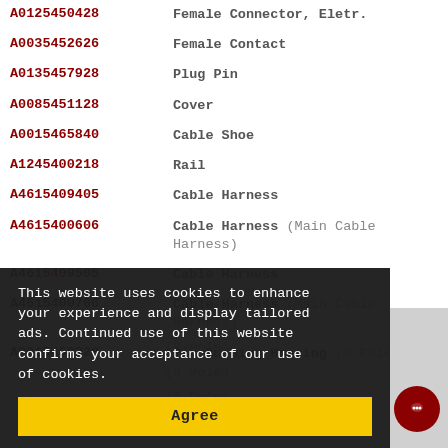| Part Number | Description |
| --- | --- |
| A0125450428 | Female Connector, Eletr. |
| A0035452626 | Female Contact |
| A0135457928 | Plug Pin |
| A0085451128 | Cover |
| A0015465840 | Cable Shoe |
| A1245400218 | Rail |
| A4615409405 | Cable Harness |
| A4615400606 | Cable Harness (Main Cable Harness) |
| A4615409505 | Cable Harness |
| A4615400706 | Cable Harness (Main Cable Harness) |
| A0015458328 | Pin Bushing Housing (8-Pole) |
|  | (8-Pole) |
|  | (8-Pole) |
|  | (7-Pole) |
This website uses cookies to enhance your experience and display tailored ads. Continued use of this website confirms your acceptance of our use of cookies.
Agree